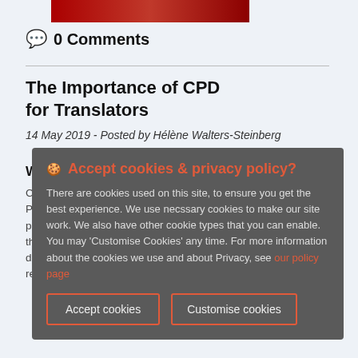[Figure (photo): Cropped top portion of an article banner image with red background]
💬 0 Comments
The Importance of CPD for Translators
14 May 2019 - Posted by Hélène Walters-Steinberg
What is CPD?
CPD stands for Continuous Professional Development. It is a process of intentional learning through which learning and development is recorded and reflected on.
[Figure (screenshot): Cookie consent overlay dialog with title 'Accept cookies & privacy policy?', body text about cookies, a link to policy page, and two buttons: Accept cookies and Customise cookies]